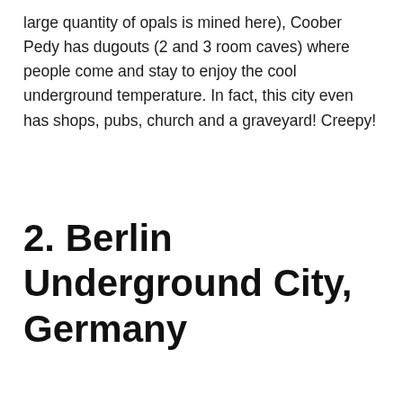large quantity of opals is mined here), Coober Pedy has dugouts (2 and 3 room caves) where people come and stay to enjoy the cool underground temperature. In fact, this city even has shops, pubs, church and a graveyard! Creepy!
2. Berlin Underground City, Germany